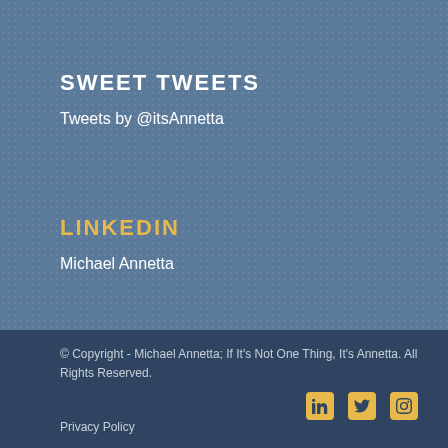SWEET TWEETS
Tweets by @itsAnnetta
LINKEDIN
Michael Annetta
© Copyright - Michael Annetta; If It's Not One Thing, It's Annetta. All Rights Reserved.
Privacy Policy